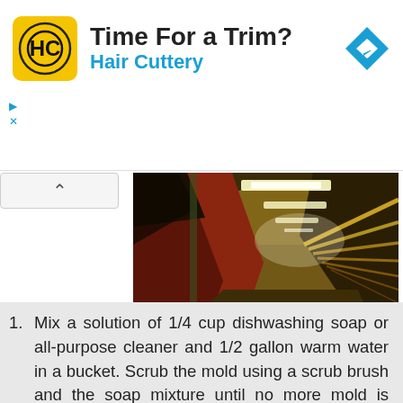[Figure (other): Hair Cuttery advertisement banner with logo, title 'Time For a Trim?', subtitle 'Hair Cuttery', and a blue navigation/directions icon]
[Figure (photo): Dark photograph of a long curved tunnel or corridor with warm yellow-orange lighting, fluorescent ceiling lights, and metal railings along the right side converging to a vanishing point]
Mix a solution of 1/4 cup dishwashing soap or all-purpose cleaner and 1/2 gallon warm water in a bucket. Scrub the mold using a scrub brush and the soap mixture until no more mold is visibly present.